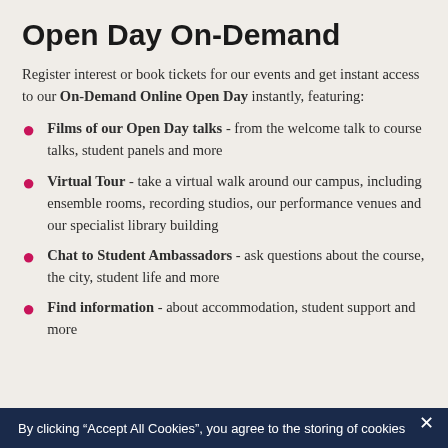Open Day On-Demand
Register interest or book tickets for our events and get instant access to our On-Demand Online Open Day instantly, featuring:
Films of our Open Day talks - from the welcome talk to course talks, student panels and more
Virtual Tour - take a virtual walk around our campus, including ensemble rooms, recording studios, our performance venues and our specialist library building
Chat to Student Ambassadors - ask questions about the course, the city, student life and more
Find information - about accommodation, student support and more
By clicking “Accept All Cookies”, you agree to the storing of cookies